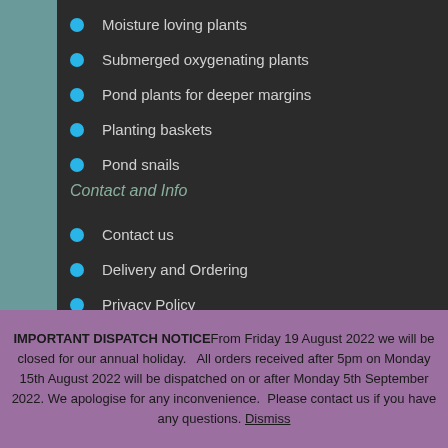Moisture loving plants
Submerged oxygenating plants
Pond plants for deeper margins
Planting baskets
Pond snails
Contact and Info
Contact us
Delivery and Ordering
Privacy Policy
About
My Account
IMPORTANT DISPATCH NOTICEFrom Friday 19 August 2022 we will be closed for our annual holiday.   All orders received after 5pm on Monday 15th August 2022 will be dispatched on or after Monday 5th September 2022. We apologise for any inconvenience.  Please contact us if you have any questions. Dismiss